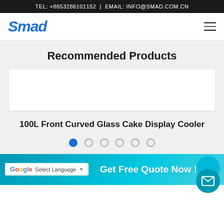TEL: +8653286101152  |  EMAIL: INFO@SMAD.COM.CN
[Figure (logo): Smad brand logo in blue italic bold text]
Recommended Products
[Figure (photo): White empty product display card area]
100L Front Curved Glass Cake Display Cooler
Get Free Quote Now !!